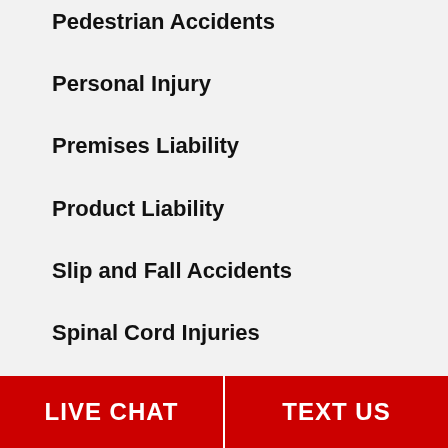Pedestrian Accidents
Personal Injury
Premises Liability
Product Liability
Slip and Fall Accidents
Spinal Cord Injuries
LIVE CHAT   TEXT US